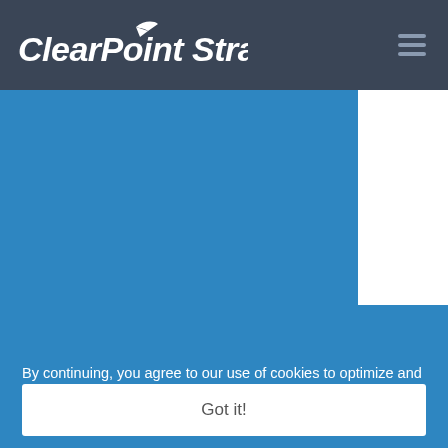[Figure (logo): ClearPoint Strategy logo with stylized arrow/plane above the 'i' in Point, white text on dark navy background, plus hamburger menu icon on the right]
[Figure (screenshot): Blue content area with a white panel overlapping from the top-right corner, forming a partial overlay layout]
By continuing, you agree to our use of cookies to optimize and personalize your experience on our site. Review our Privacy Policy to learn more.
Got it!